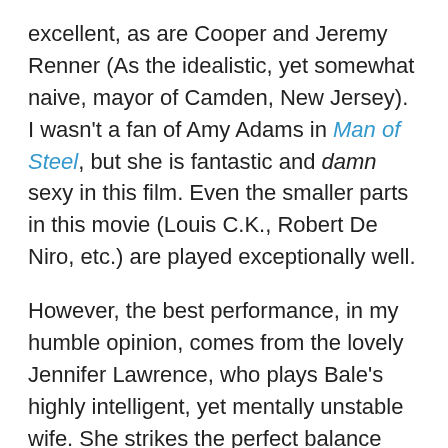excellent, as are Cooper and Jeremy Renner (As the idealistic, yet somewhat naive, mayor of Camden, New Jersey). I wasn't a fan of Amy Adams in Man of Steel, but she is fantastic and damn sexy in this film. Even the smaller parts in this movie (Louis C.K., Robert De Niro, etc.) are played exceptionally well.
However, the best performance, in my humble opinion, comes from the lovely Jennifer Lawrence, who plays Bale's highly intelligent, yet mentally unstable wife. She strikes the perfect balance between being clearly not O.K., but also hilarious, and even sympathetic. J-Law has displayed, once again, why she is my favourite actress.
What Oscar nominations does it deserve?:
Best Film Editing: Sure, I guess. The movie flowed very